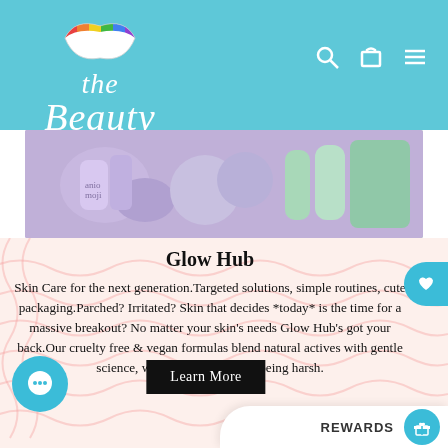[Figure (logo): The Beauty Bag logo with colorful lips icon and cursive text]
[Figure (photo): Beauty product image showing skincare items in purple, lavender, and green packaging]
Glow Hub
Skin Care for the next generation.Targeted solutions, simple routines, cute packaging.Parched? Irritated? Skin that decides *today* is the time for a massive breakout? No matter your skin's needs Glow Hub's got your back.Our cruelty free & vegan formulas blend natural actives with gentle science, working hard without being harsh.
[Figure (other): Learn More button]
[Figure (other): REWARDS button with gift icon]